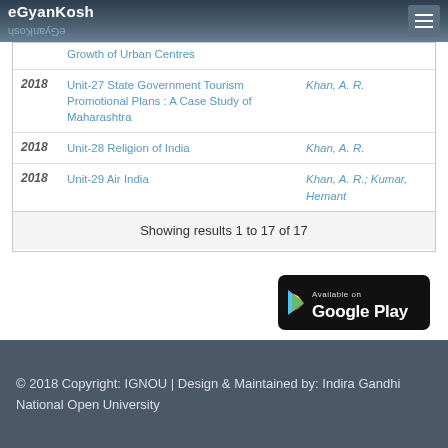eGyanKosh
| Year | Title | Author |
| --- | --- | --- |
|  | Growth of Urban Centres |  |
| 2018 | Unit-27 State Government Tourism Promotional Plans : A Case Study of Maharashtra | Khan, A. R. |
| 2018 | Unit-28 Religion of India | Khan, A. R. |
| 2018 | Unit-29 Air India | Khan, A. R.; Kumar, Hemant |
Showing results 1 to 17 of 17
[Figure (logo): Available on Google Play badge]
© 2018 Copyright: IGNOU | Design & Maintained by: Indira Gandhi National Open University